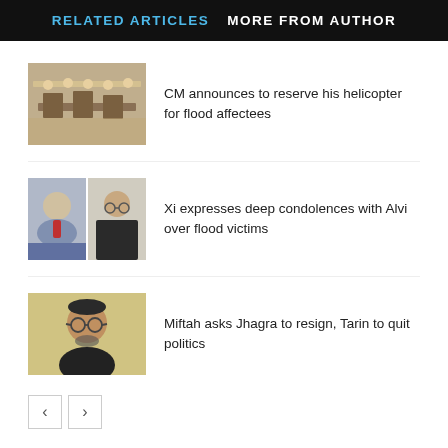RELATED ARTICLES   MORE FROM AUTHOR
[Figure (photo): Conference room with people seated around tables]
CM announces to reserve his helicopter for flood affectees
[Figure (photo): Two portrait photos side by side: Xi Jinping and another official]
Xi expresses deep condolences with Alvi over flood victims
[Figure (photo): Portrait photo of a man with glasses]
Miftah asks Jhagra to resign, Tarin to quit politics